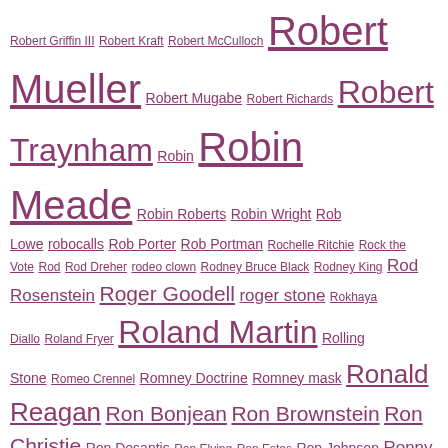Robert Griffin III Robert Kraft Robert McCulloch Robert Mueller Robert Mugabe Robert Richards Robert Traynham Robin Robin Meade Robin Roberts Robin Wright Rob Lowe robocalls Rob Porter Rob Portman Rochelle Ritchie Rock the Vote Rod Rod Dreher rodeo clown Rodney Bruce Black Rodney King Rod Rosenstein Roger Goodell roger stone Rokhaya Diallo Roland Fryer Roland Martin Rolling Stone Romeo Crennel Romney Doctrine Romney mask Ronald Reagan Ron Bonjean Ron Brownstein Ron Christie Ron Desantis Ron Elving Ron Estes Ron Johnson Ronny Jackson Ron Paul Ron Reagan Ron Walters Rooney Rule Rosalind Jordan Roseanne Roseanne Barr Ross Douthat Ross Perot Roy Cooper Roy Middleton Roy Moore Roy Neel Rudy Giuliani Rufus Davis runoff Rupert Murdoch Rush Card Rush Limbaugh Russell Simmons Russell Wilson Russia russia investigation Russian Television Russia Today Russ Parr Russ Parr Morning Show Rutgers Ruth Marcus Ryancare Ryan Frazier Ryan Gosling Ryan Grim Ryan Lizza Ryan Smith Sabrina Siddiqui Saddam Hussein SAE SAE chant safety Sage Steele Saida Grundy Sakha Republic Sally Kohn Sally Yates Salman Rushdie salmonella